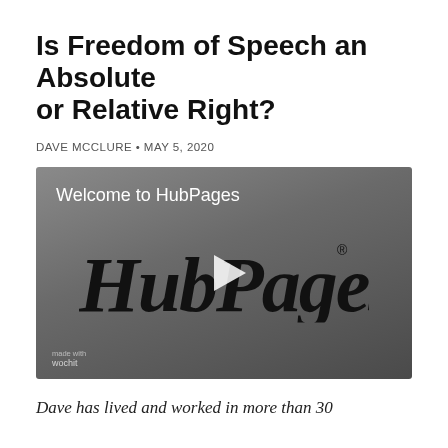Is Freedom of Speech an Absolute or Relative Right?
DAVE MCCLURE • MAY 5, 2020
[Figure (screenshot): Video thumbnail showing 'Welcome to HubPages' text with HubPages logo and play button on a gray gradient background, with Wochit branding in the lower left corner.]
Dave has lived and worked in more than 30